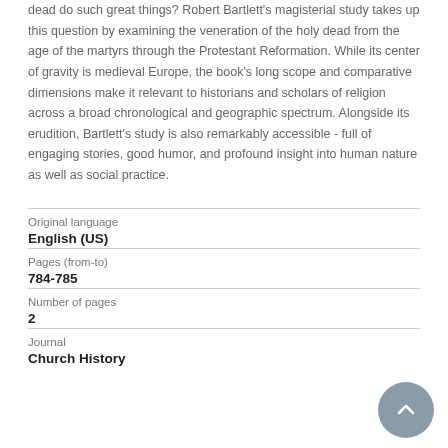dead do such great things? Robert Bartlett's magisterial study takes up this question by examining the veneration of the holy dead from the age of the martyrs through the Protestant Reformation. While its center of gravity is medieval Europe, the book's long scope and comparative dimensions make it relevant to historians and scholars of religion across a broad chronological and geographic spectrum. Alongside its erudition, Bartlett's study is also remarkably accessible - full of engaging stories, good humor, and profound insight into human nature as well as social practice.
| Field | Value |
| --- | --- |
| Original language | English (US) |
| Pages (from-to) | 784-785 |
| Number of pages | 2 |
| Journal | Church History |